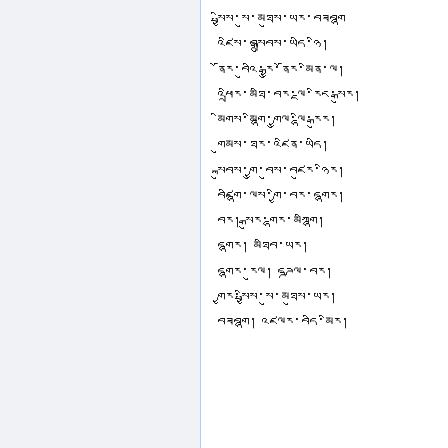Tibetan script text lines in right panel column